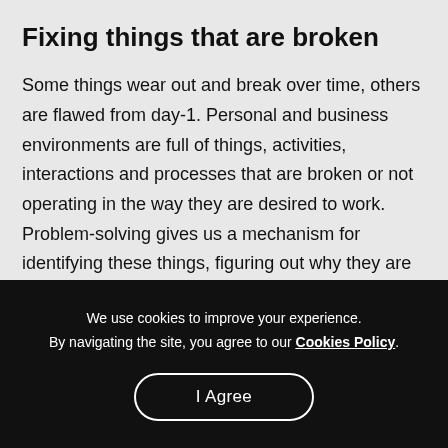Fixing things that are broken
Some things wear out and break over time, others are flawed from day-1. Personal and business environments are full of things, activities, interactions and processes that are broken or not operating in the way they are desired to work. Problem-solving gives us a mechanism for identifying these things, figuring out why they are broken and determining a course of action to fix them.
We use cookies to improve your experience.
By navigating the site, you agree to our Cookies Policy.
I Agree